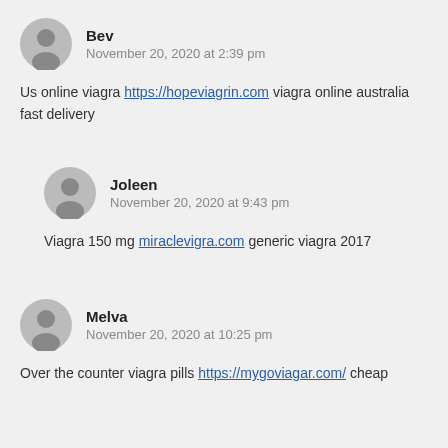Bev
November 20, 2020 at 2:39 pm
Us online viagra https://hopeviagrin.com viagra online australia
fast delivery
Joleen
November 20, 2020 at 9:43 pm
Viagra 150 mg miraclevigra.com generic viagra 2017
Melva
November 20, 2020 at 10:25 pm
Over the counter viagra pills https://mygoviagar.com/ cheap